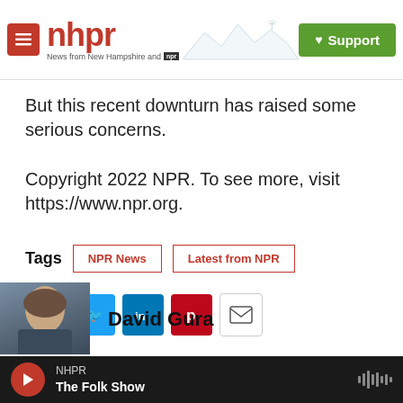nhpr — News from New Hampshire and NPR | Support
But this recent downturn has raised some serious concerns.
Copyright 2022 NPR. To see more, visit https://www.npr.org.
Tags  NPR News  Latest from NPR
[Figure (infographic): Social sharing icons: Facebook, Twitter, LinkedIn, Pinterest, Email]
David Gura
NHPR — The Folk Show (audio player bar)